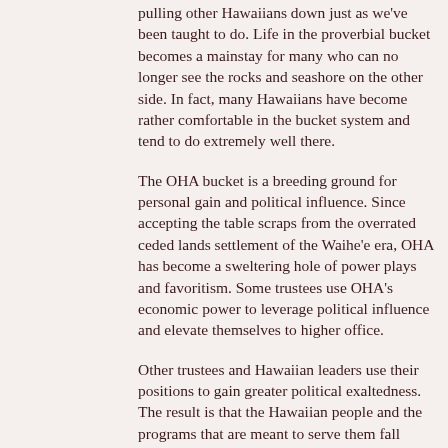pulling other Hawaiians down just as we've been taught to do. Life in the proverbial bucket becomes a mainstay for many who can no longer see the rocks and seashore on the other side. In fact, many Hawaiians have become rather comfortable in the bucket system and tend to do extremely well there.
The OHA bucket is a breeding ground for personal gain and political influence. Since accepting the table scraps from the overrated ceded lands settlement of the Waihe'e era, OHA has become a sweltering hole of power plays and favoritism. Some trustees use OHA's economic power to leverage political influence and elevate themselves to higher office.
Other trustees and Hawaiian leaders use their positions to gain greater political exaltedness. The result is that the Hawaiian people and the programs that are meant to serve them fall straight to the bottom of the bucket.
OHA is just a microcosm of the Native Hawaiians' sad state of affairs. No one entity ÷ not Ka Lahui, DHHL, or Aha Like Lanai have used the